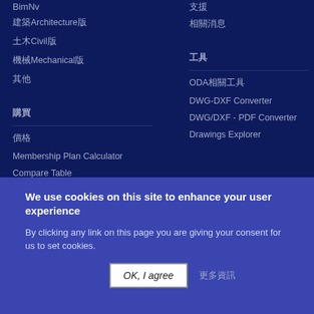BimNv
支援Forum
建築Architecture版
相關消息
土木Civil版
機械Mechanical版
其他
購買
工具
價格
ODA相關工具
Membership Plan Calculator
DWG-DXF Converter
Compare Table
DWG/DXF - PDF Converter
Drawings Explorer
We use cookies on this site to enhance your user experience
By clicking any link on this page you are giving your consent for us to set cookies.
OK, I agree
更多資訊